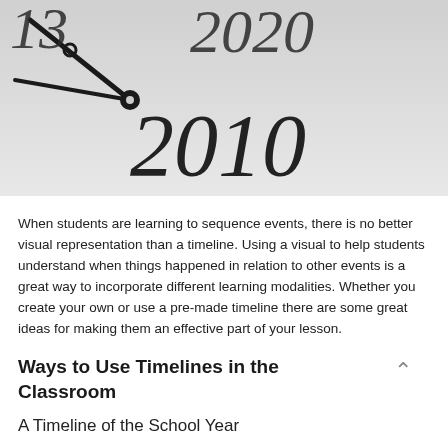[Figure (photo): Close-up photograph of a clock or dial face showing years 2010 and 2020 in large serif numerals with clock hands visible against a light gray background.]
When students are learning to sequence events, there is no better visual representation than a timeline. Using a visual to help students understand when things happened in relation to other events is a great way to incorporate different learning modalities. Whether you create your own or use a pre-made timeline there are some great ideas for making them an effective part of your lesson.
Ways to Use Timelines in the Classroom
A Timeline of the School Year
If you are new to timelines, consider starting off with an